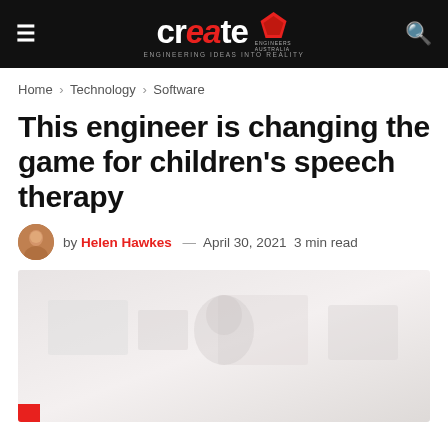create — ENGINEERING IDEAS INTO REALITY | Engineers Australia
Home > Technology > Software
This engineer is changing the game for children's speech therapy
by Helen Hawkes — April 30, 2021  3 min read
[Figure (photo): Faded/washed-out photo of a person in what appears to be an office or lab setting, with low contrast and reddish tones at the bottom left corner]